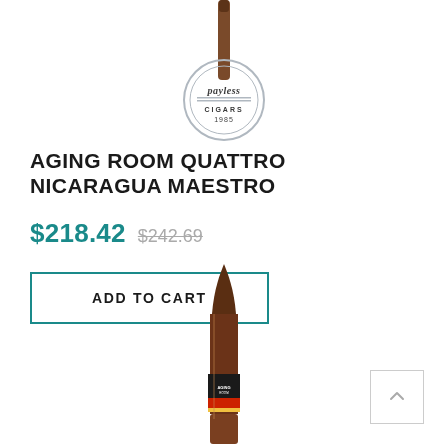[Figure (logo): Payless Cigars logo stamp with a cigar on top, circular design reading 'PAYLESS CIGARS 1985']
AGING ROOM QUATTRO NICARAGUA MAESTRO
$218.42  $242.69
ADD TO CART
[Figure (photo): A torpedo/belicoso shaped cigar with a dark wrapper, featuring a black, red and white band label, standing vertically]